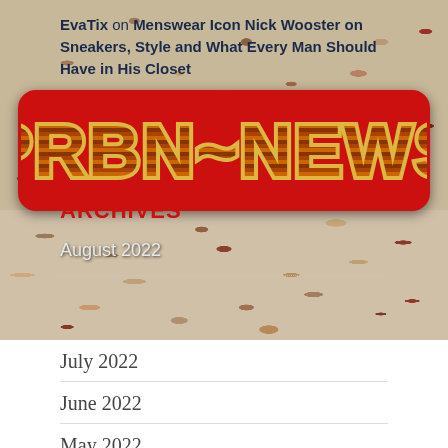EvaTix on Menswear Icon Nick Wooster on Sneakers, Style and What Every Man Should Have in His Closet
[Figure (logo): PRBN~NEWS red logo with gold outlined text on red rounded rectangle background]
ARCHIVES
August 2022
July 2022
June 2022
May 2022
April 2022